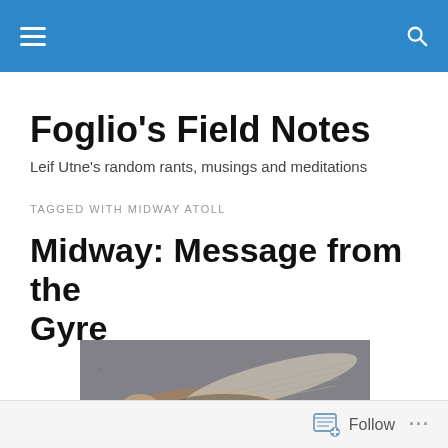Foglio's Field Notes
Leif Utne's random rants, musings and meditations
TAGGED WITH MIDWAY ATOLL
Midway: Message from the Gyre
[Figure (photo): Dead bird (albatross) lying on grey sandy ground at Midway Atoll, feathers spread out]
Follow ...